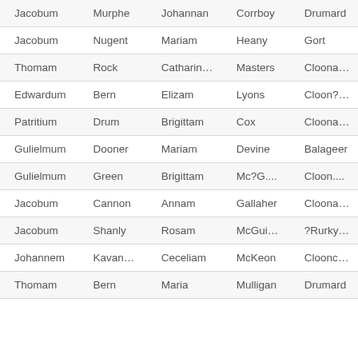| Jacobum | Murphe | Johannan | Corrboy | Drumard |
| Jacobum | Nugent | Mariam | Heany | Gort |
| Thomam | Rock | Catharinam | Masters | Cloonacabry |
| Edwardum | Bern | Elizam | Lyons | Cloon?bong |
| Patritium | Drum | Brigittam | Cox | Cloonagh |
| Gulielmum | Dooner | Mariam | Devine | Balageer |
| Gulielmum | Green | Brigittam | Mc?G.... | Cloon.... |
| Jacobum | Cannon | Annam | Gallaher | Cloona?rin |
| Jacobum | Shanly | Rosam | McGuiniss | ?Rurkynamona |
| Johannem | Kavanagh | Ceceliam | McKeon | Clooncarin |
| Thomam | Bern | Maria | Mulligan | Drumard |